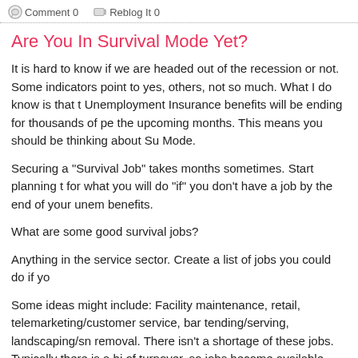Comment 0   Reblog It 0
Are You In Survival Mode Yet?
It is hard to know if we are headed out of the recession or not. Some indicators point to yes, others, not so much. What I do know is that Unemployment Insurance benefits will be ending for thousands of people in the upcoming months. This means you should be thinking about Survival Mode.
Securing a "Survival Job" takes months sometimes. Start planning today for what you will do "if" you don't have a job by the end of your unemployment benefits.
What are some good survival jobs?
Anything in the service sector. Create a list of jobs you could do if yo...
Some ideas might include: Facility maintenance, retail, telemarketing/customer service, bar tending/serving, landscaping/snow removal. There isn't a shortage of these jobs. Typically there is a high rate of turnover, so jobs become available more often.
Is this hard to swallow? You haven't worked a retail job since high sc...